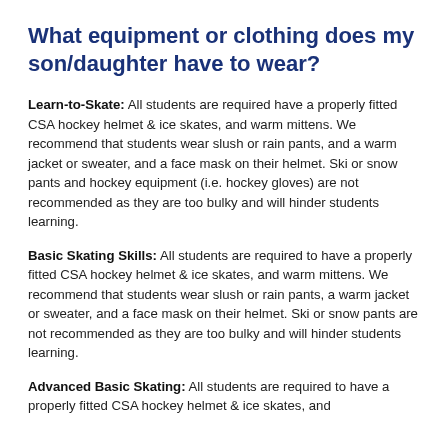What equipment or clothing does my son/daughter have to wear?
Learn-to-Skate: All students are required have a properly fitted CSA hockey helmet & ice skates, and warm mittens. We recommend that students wear slush or rain pants, and a warm jacket or sweater, and a face mask on their helmet. Ski or snow pants and hockey equipment (i.e. hockey gloves) are not recommended as they are too bulky and will hinder students learning.
Basic Skating Skills: All students are required to have a properly fitted CSA hockey helmet & ice skates, and warm mittens. We recommend that students wear slush or rain pants, a warm jacket or sweater, and a face mask on their helmet. Ski or snow pants are not recommended as they are too bulky and will hinder students learning.
Advanced Basic Skating: All students are required to have a properly fitted CSA hockey helmet & ice skates, and